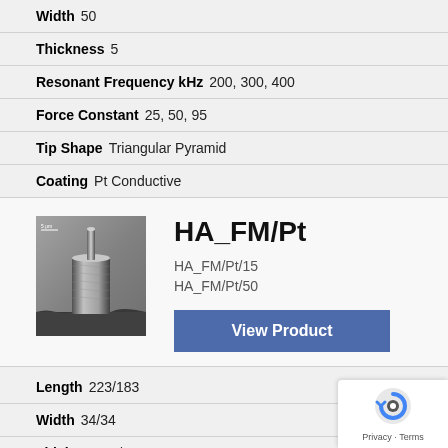Width  50
Thickness  5
Resonant Frequency kHz  200, 300, 400
Force Constant  25, 50, 95
Tip Shape  Triangular Pyramid
Coating  Pt Conductive
[Figure (photo): SEM image of AFM tip probe (HA_FM/Pt) showing cylindrical columnar structure on substrate]
HA_FM/Pt
HA_FM/Pt/15
HA_FM/Pt/50
View Product
Length  223/183
Width  34/34
Thickness  3/3
Resonant Frequency kHz  69.3, 77, 84.7/103, 114, 125.4